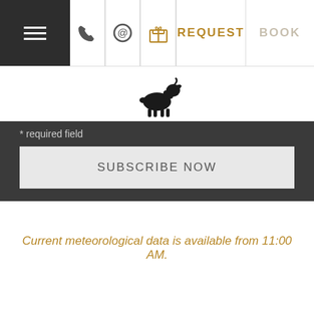[Figure (screenshot): Navigation bar with hamburger menu (dark), phone icon, at-sign icon, gift icon, REQUEST label in gold, BOOK label in grey]
[Figure (logo): Black silhouette of a goat/lamb animal logo]
* required field
SUBSCRIBE NOW
Current meteorological data is available from 11:00 AM.